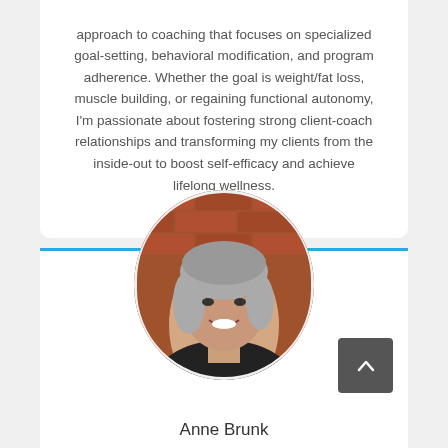approach to coaching that focuses on specialized goal-setting, behavioral modification, and program adherence. Whether the goal is weight/fat loss, muscle building, or regaining functional autonomy, I'm passionate about fostering strong client-coach relationships and transforming my clients from the inside-out to boost self-efficacy and achieve lifelong wellness.
[Figure (photo): Headshot photo of Anne Brunk, a woman with gray shoulder-length hair, smiling, wearing a dark jacket, with a brick wall background. The photo is in a rounded square frame.]
Anne Brunk